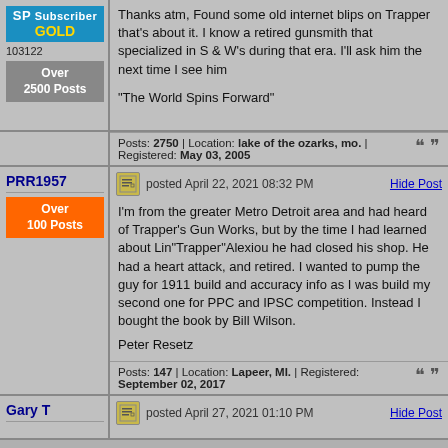SP Subscriber GOLD
103122
Over 2500 Posts
Thanks atm, Found some old internet blips on Trapper that's about it. I know a retired gunsmith that specialized in S & W's during that era. I'll ask him the next time I see him

"The World Spins Forward"
Posts: 2750 | Location: lake of the ozarks, mo. | Registered: May 03, 2005
PRR1957
Over 100 Posts
posted April 22, 2021 08:32 PM
I'm from the greater Metro Detroit area and had heard of Trapper's Gun Works, but by the time I had learned about Lin"Trapper"Alexiou he had closed his shop. He had a heart attack, and retired. I wanted to pump the guy for 1911 build and accuracy info as I was build my second one for PPC and IPSC competition. Instead I bought the book by Bill Wilson.

Peter Resetz
Posts: 147 | Location: Lapeer, MI. | Registered: September 02, 2017
Gary T
posted April 27, 2021 01:10 PM